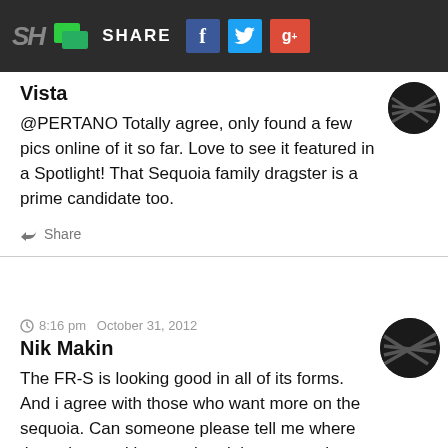SH SHARE f t g+
Vista
@PERTANO Totally agree, only found a few pics online of it so far. Love to see it featured in a Spotlight! That Sequoia family dragster is a prime candidate too.
Share
8:16 pm  October 31, 2012
Nik Makin
The FR-S is looking good in all of its forms. And i agree with those who want more on the sequoia. Can someone please tell me where the turbos and intercooler piping are on the mustang cobra jet?????